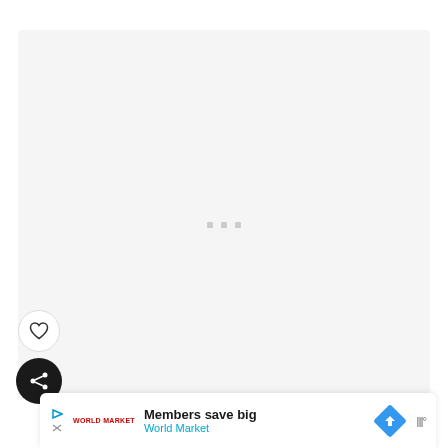[Figure (screenshot): Light gray placeholder/loading area with three small gray square dots in the center, representing a loading content area of a web or app page.]
[Figure (other): Heart (like) button — white circular button with a heart outline icon.]
[Figure (other): Share button — black circular button with a share/network icon in white.]
[Figure (other): Advertisement banner at the bottom: play and close icons, World Market logo in red, text 'Members save big' and 'World Market' in blue, a blue diamond road sign icon, and tally marks icon on the right.]